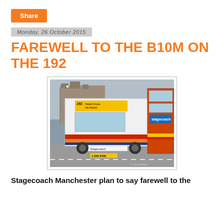Share
Monday, 26 October 2015
FAREWELL TO THE B10M ON THE 192
[Figure (photo): A Stagecoach single-decker bus showing route 192 on the destination board, with a double-decker bus alongside, on a town centre street. Photo credit: © Tony Wilson]
Stagecoach Manchester plan to say farewell to the